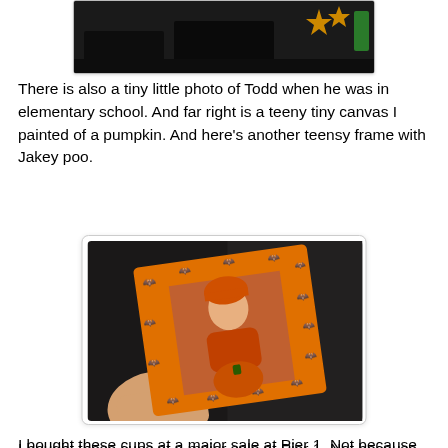[Figure (photo): Partial photo at top of page showing a dark scene, likely a fireplace or shelf with Halloween decorations including orange/yellow star-like shapes]
There is also a tiny little photo of Todd when he was in elementary school. And far right is a teeny tiny canvas I painted of a pumpkin. And here's another teensy frame with Jakey poo.
[Figure (photo): A hand holding an orange Halloween picture frame decorated with black bats around the border, containing a photo of a baby/toddler dressed in orange Halloween costume with pumpkins]
I bought these cups at a major sale at Pier 1. Not because we drink out of coffee cups, but because I could not resist them. They've just been sitting on the counter ever since I bought them. I think they make nice decorations in and of themselves.